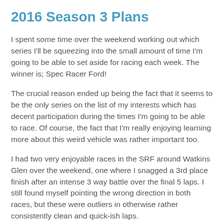2016 Season 3 Plans
I spent some time over the weekend working out which series I'll be squeezing into the small amount of time I'm going to be able to set aside for racing each week. The winner is; Spec Racer Ford!
The crucial reason ended up being the fact that it seems to be the only series on the list of my interests which has decent participation during the times I'm going to be able to race. Of course, the fact that I'm really enjoying learning more about this weird vehicle was rather important too.
I had two very enjoyable races in the SRF around Watkins Glen over the weekend, one where I snagged a 3rd place finish after an intense 3 way battle over the final 5 laps. I still found myself pointing the wrong direction in both races, but these were outliers in otherwise rather consistently clean and quick-ish laps.
My goal for 2016 Season 3 is to run at least 1 race each week after putting enough, enough practice time to be safe...